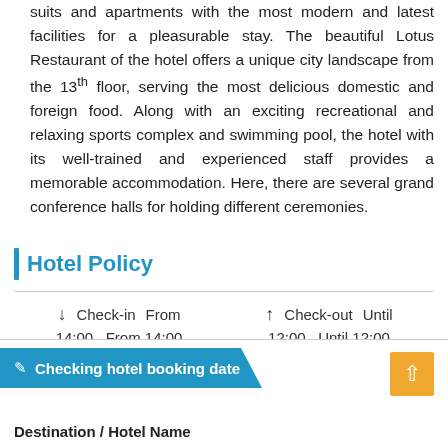suits and apartments with the most modern and latest facilities for a pleasurable stay. The beautiful Lotus Restaurant of the hotel offers a unique city landscape from the 13th floor, serving the most delicious domestic and foreign food. Along with an exciting recreational and relaxing sports complex and swimming pool, the hotel with its well-trained and experienced staff provides a memorable accommodation. Here, there are several grand conference halls for holding different ceremonies.
Hotel Policy
↓ Check-in From 14:00 , From 14:00   ↑ Check-out Until 12:00 , Until 12:00
Checking hotel booking date
Destination / Hotel Name